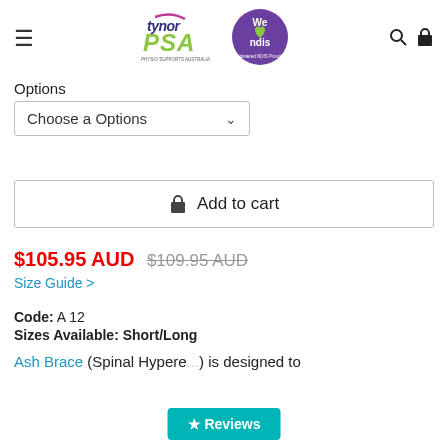[Figure (logo): Tynor PSA logo with purple/green text and We love NDIS registered provider badge circle in purple]
Options
Choose a Options
Add to cart
$105.95 AUD $109.95 AUD
Size Guide >
Code: A 12
Sizes Available: Short/Long
Ash Brace (Spinal Hypere...) is designed to
★Reviews